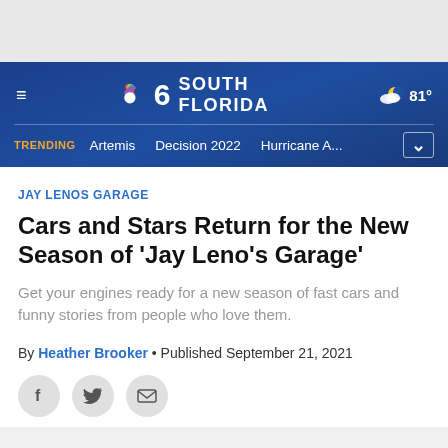NBC 6 South Florida — TRENDING: Artemis | Decision 2022 | Hurricane A...
JAY LENOS GARAGE
Cars and Stars Return for the New Season of 'Jay Leno's Garage'
Get your engines ready for a new season of fast cars and funny stories from people who love them.
By Heather Brooker • Published September 21, 2021